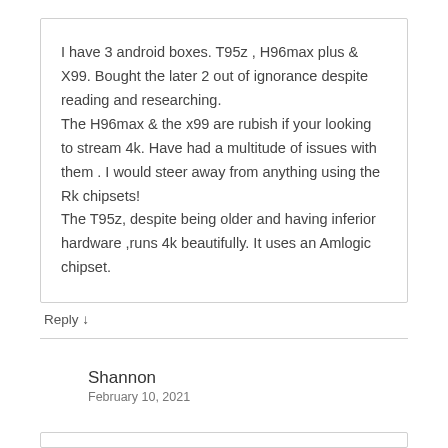I have 3 android boxes. T95z , H96max plus & X99. Bought the later 2 out of ignorance despite reading and researching.
The H96max & the x99 are rubish if your looking to stream 4k. Have had a multitude of issues with them . I would steer away from anything using the Rk chipsets!
The T95z, despite being older and having inferior hardware ,runs 4k beautifully. It uses an Amlogic chipset.
Reply ↓
Shannon
February 10, 2021